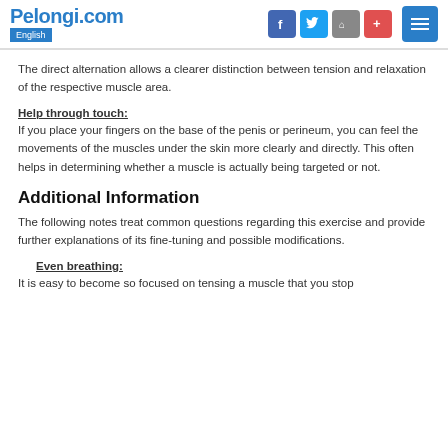Pelongi.com English
The direct alternation allows a clearer distinction between tension and relaxation of the respective muscle area.
Help through touch:
If you place your fingers on the base of the penis or perineum, you can feel the movements of the muscles under the skin more clearly and directly. This often helps in determining whether a muscle is actually being targeted or not.
Additional Information
The following notes treat common questions regarding this exercise and provide further explanations of its fine-tuning and possible modifications.
Even breathing:
It is easy to become so focused on tensing a muscle that you stop